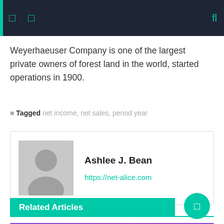Weyerhaeuser Company is one of the largest private owners of forest land in the world, started operations in 1900.
Tagged net income, net sales, period year
Ashlee J. Bean
https://net-alice.com
Related Articles